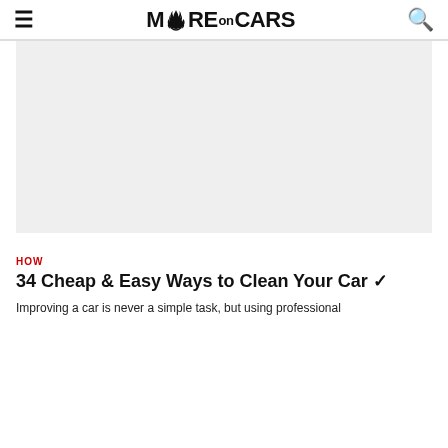MORE on CARS
[Figure (other): Advertisement placeholder area with light grey background]
We use cookies on our website to give you the most relevant experience. Read More
Cookie Settings | Accept All
HOW
34 Cheap & Easy Ways to Clean Your Car ✓
Improving a car is never a simple task, but using professional